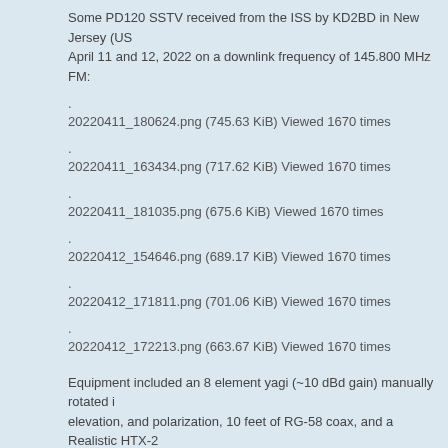Some PD120 SSTV received from the ISS by KD2BD in New Jersey (US April 11 and 12, 2022 on a downlink frequency of 145.800 MHz FM:
20220411_180624.png (745.63 KiB) Viewed 1670 times
20220411_163434.png (717.62 KiB) Viewed 1670 times
20220411_181035.png (675.6 KiB) Viewed 1670 times
20220412_154646.png (689.17 KiB) Viewed 1670 times
20220412_171811.png (701.06 KiB) Viewed 1670 times
20220412_172213.png (663.67 KiB) Viewed 1670 times
Equipment included an 8 element yagi (~10 dBd gain) manually rotated i elevation, and polarization, 10 feet of RG-58 coax, and a Realistic HTX-2